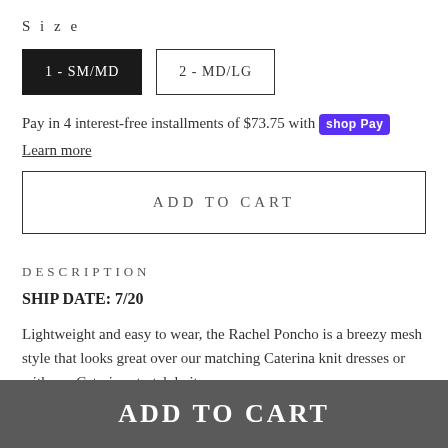Size
1 - SM/MD  2 - MD/LG
Pay in 4 interest-free installments of $73.75 with shop Pay
Learn more
ADD TO CART
DESCRIPTION
SHIP DATE: 7/20
Lightweight and easy to wear, the Rachel Poncho is a breezy mesh style that looks great over our matching Caterina knit dresses or with our Caterina stretch knit
ADD TO CART